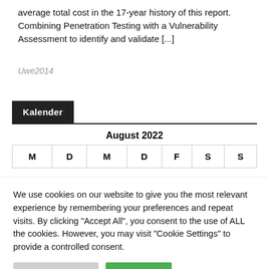average total cost in the 17-year history of this report.  Combining Penetration Testing with a Vulnerability Assessment to identify and validate [...]
Uwe2014
Kalender
| M | D | M | D | F | S | S |
| --- | --- | --- | --- | --- | --- | --- |
We use cookies on our website to give you the most relevant experience by remembering your preferences and repeat visits. By clicking "Accept All", you consent to the use of ALL the cookies. However, you may visit "Cookie Settings" to provide a controlled consent.
Cookie Settings | Accept All
Translate »